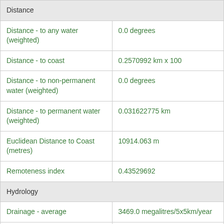| Attribute | Value |
| --- | --- |
| Distance (section header) |  |
| Distance - to any water (weighted) | 0.0 degrees |
| Distance - to coast | 0.2570992 km x 100 |
| Distance - to non-permanent water (weighted) | 0.0 degrees |
| Distance - to permanent water (weighted) | 0.031622775 km |
| Euclidean Distance to Coast (metres) | 10914.063 m |
| Remoteness index | 0.43529692 |
| Hydrology (section header) |  |
| Drainage - average | 3469.0 megalitres/5x5km/year |
| Drainage - variability | 18.0 % |
| Runoff - average | 4700.0 megalitres/5x5km/year |
| Water Observations From Space | 0.0 Percentage |